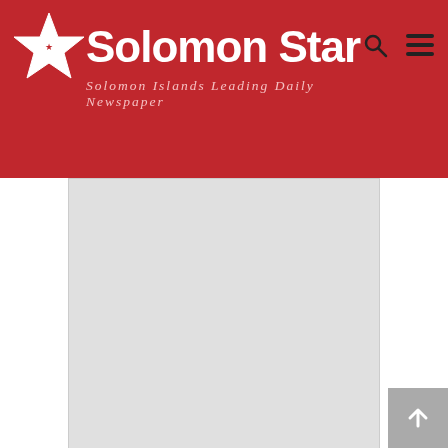Solomon Star — Solomon Islands' Leading Daily Newspaper
[Figure (other): Advertisement placeholder area (grey box)]
The importance of ward profiling
News - National  •  By Sol Star News  •  June 28, 2016
A private consultant says the importance of ward profiling is vital to the implementation of development projects, by the government and NGOs (Non Government Organization) in our rural communities. Samson Maenuta made the comments during a short visit by the Solomon Star